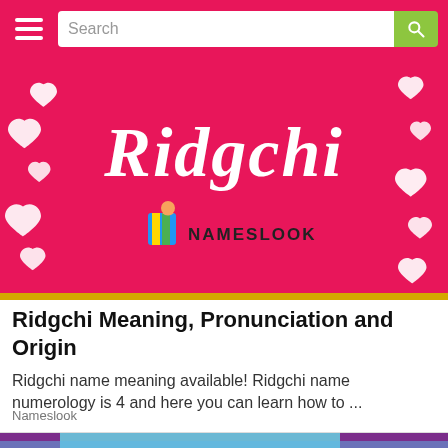Search
[Figure (illustration): Pink banner with white hearts and Ridgchi script logo, with Nameslook branding below]
Ridgchi Meaning, Pronunciation and Origin
Ridgchi name meaning available! Ridgchi name numerology is 4 and here you can learn how to ...
Nameslook
[Figure (photo): Partial photo showing hands holding glasses, purple and blue background]